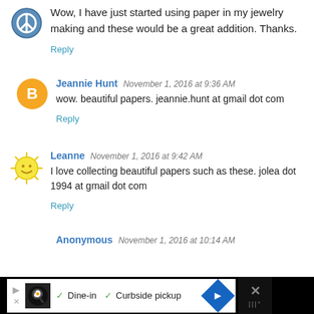Wow, I have just started using paper in my jewelry making and these would be a great addition. Thanks.
Reply
Jeannie Hunt  November 1, 2016 at 9:36 AM
wow. beautiful papers. jeannie.hunt at gmail dot com
Reply
Leanne  November 1, 2016 at 9:42 AM
I love collecting beautiful papers such as these. jolea dot 1994 at gmail dot com
Reply
Anonymous  November 1, 2016 at 10:14 AM
[Figure (screenshot): Advertisement bar at bottom: Dine-in, Curbside pickup]